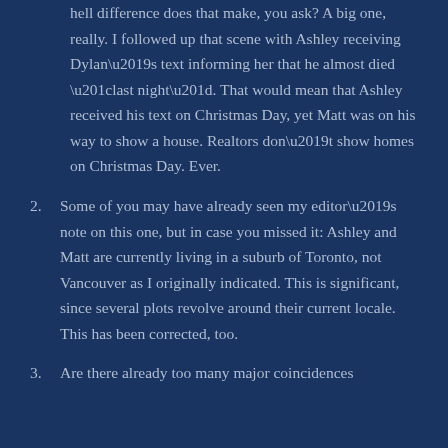hell difference does that make, you ask?  A big one, really.  I followed up that scene with Ashley receiving Dylan’s text informing her that he almost died “last night”.  That would mean that Ashley received his text on Christmas Day, yet Matt was on his way to show a house.  Realtors don’t show homes on Christmas Day.  Ever.
2. Some of you may have already seen my editor’s note on this one, but in case you missed it: Ashley and Matt are currently living in a suburb of Toronto, not Vancouver as I originally indicated.  This is significant, since several plots revolve around their current locale.  This has been corrected, too.
3. Are there already too many major coincidences